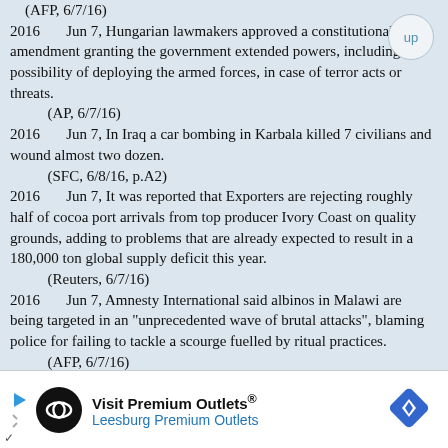(AFP, 6/7/16)
2016    Jun 7, Hungarian lawmakers approved a constitutional amendment granting the government extended powers, including the possibility of deploying the armed forces, in case of terror acts or threats.
    (AP, 6/7/16)
2016    Jun 7, In Iraq a car bombing in Karbala killed 7 civilians and wound almost two dozen.
    (SFC, 6/8/16, p.A2)
2016    Jun 7, It was reported that Exporters are rejecting roughly half of cocoa port arrivals from top producer Ivory Coast on quality grounds, adding to problems that are already expected to result in a 180,000 ton global supply deficit this year.
    (Reuters, 6/7/16)
2016    Jun 7, Amnesty International said albinos in Malawi are being targeted in an "unprecedented wave of brutal attacks", blaming police for failing to tackle a scourge fuelled by ritual practices.
    (AFP, 6/7/16)
[Figure (infographic): Advertisement banner for Visit Premium Outlets / Leesburg Premium Outlets with circular logo, play and close buttons, and a blue diamond navigation icon.]